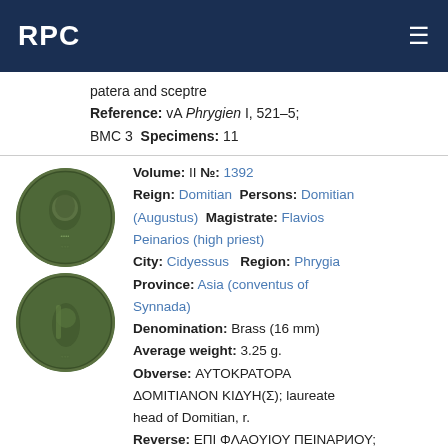RPC
patera and sceptre
Reference: vA Phrygien I, 521–5; BMC 3 Specimens: 11
Volume: II №: 1392
Reign: Domitian Persons: Domitian (Augustus) Magistrate: Flavios Peinarios (high priest)
City: Cidyessus Region: Phrygia
Province: Asia (conventus of Synnada)
Denomination: Brass (16 mm)
Average weight: 3.25 g.
Obverse: ΑΥΤΟΚΡΑΤΟΡΑ ΔΟΜΙΤΙΑΝΟΝ ΚΙΔΥΗ(Σ); laureate head of Domitian, r.
Reverse: ΕΠΙ ΦΛΑΟΥΙΟΥ ΠΕΙΝАРИΟΥ;